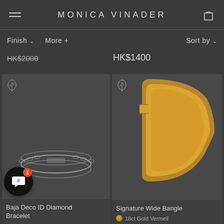MONICA VINADER
Finish ∨   More +   Sort by ∨
HK$2000 (strikethrough)
HK$1400
[Figure (photo): Product image area for Baja Deco ID Diamond Bracelet - a silver chain bracelet on dark background]
Baja Deco ID Diamond Bracelet
[Figure (photo): Product image area for Signature Wide Bangle - a gold wide bangle on dark background]
Signature Wide Bangle
18ct Gold Vermeil